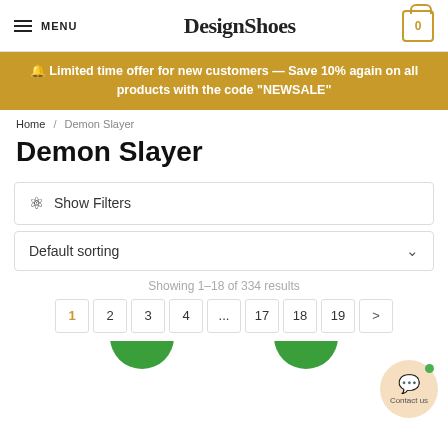DesignShoes — MENU | Cart: 0
🔔 Limited time offer for new customers — Save 10% again on all products with the code "NEWSALE"
Home / Demon Slayer
Demon Slayer
Show Filters
Default sorting
Showing 1–18 of 334 results
1  2  3  4  ...  17  18  19  >